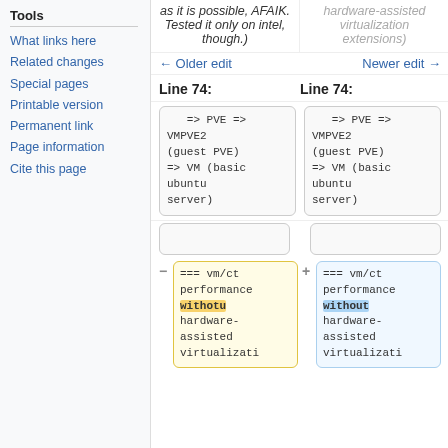Tools
What links here
Related changes
Special pages
Printable version
Permanent link
Page information
Cite this page
as it is possible, AFAIK. Tested it only on intel, though.)
hardware-assisted virtualization extensions)
← Older edit
Newer edit →
Line 74:
Line 74:
=> PVE => VMPVE2 (guest PVE) => VM (basic ubuntu server)
=> PVE => VMPVE2 (guest PVE) => VM (basic ubuntu server)
=== vm/ct performance withotu hardware-assisted virtualizati
=== vm/ct performance without hardware-assisted virtualizati